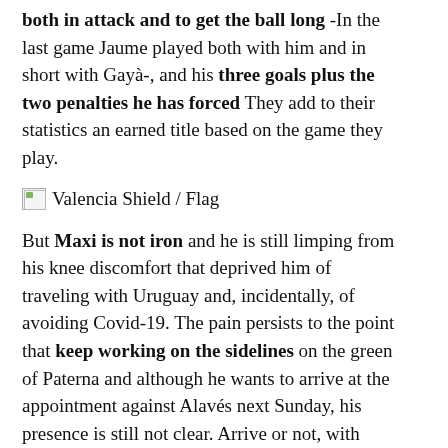both in attack and to get the ball long -In the last game Jaume played both with him and in short with Gayà-, and his three goals plus the two penalties he has forced They add to their statistics an earned title based on the game they play.
[Figure (illustration): Broken image placeholder with alt text: Valencia Shield / Flag]
But Maxi is not iron and he is still limping from his knee discomfort that deprived him of traveling with Uruguay and, incidentally, of avoiding Covid-19. The pain persists to the point that keep working on the sidelines on the green of Paterna and although he wants to arrive at the appointment against Alavés next Sunday, his presence is still not clear. Arrive or not, with your figure between cottons the other forwards are forced to step forward, Maxi just can't and the goal that needs escorts.